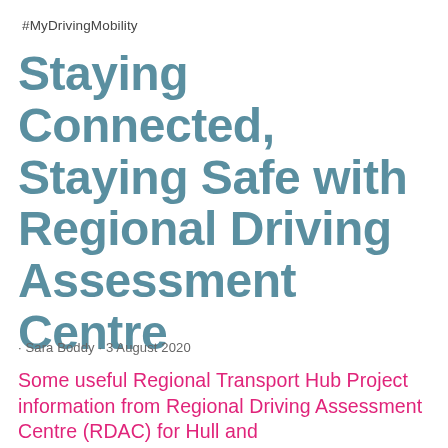#MyDrivingMobility
Staying Connected, Staying Safe with Regional Driving Assessment Centre
· Sara Boddy · 3 August 2020
Some useful Regional Transport Hub Project information from Regional Driving Assessment Centre (RDAC) for Hull and